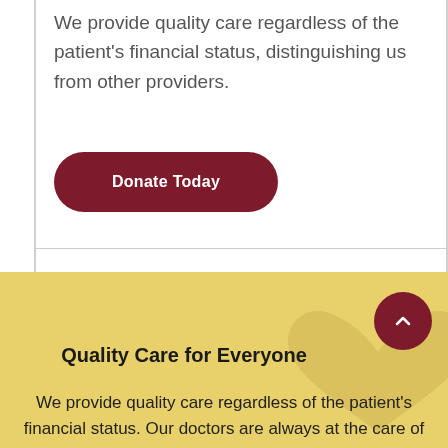We provide quality care regardless of the patient's financial status, distinguishing us from other providers.
[Figure (other): Dark red rounded rectangle button labeled 'Donate Today' in white bold text]
Quality Care for Everyone
We provide quality care regardless of the patient's financial status. Our doctors are always at the care of